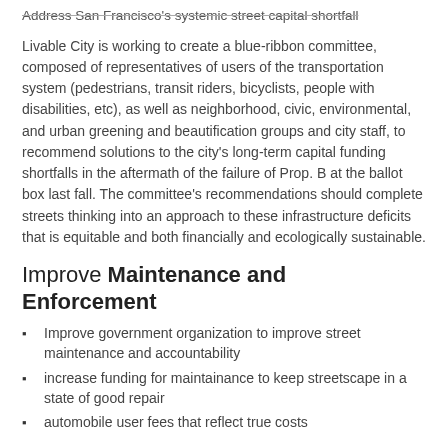Address San Francisco's systemic street capital shortfall
Livable City is working to create a blue-ribbon committee, composed of representatives of users of the transportation system (pedestrians, transit riders, bicyclists, people with disabilities, etc), as well as neighborhood, civic, environmental, and urban greening and beautification groups and city staff, to recommend solutions to the city's long-term capital funding shortfalls in the aftermath of the failure of Prop. B at the ballot box last fall. The committee's recommendations should complete streets thinking into an approach to these infrastructure deficits that is equitable and both financially and ecologically sustainable.
Improve Maintenance and Enforcement
Improve government organization to improve street maintenance and accountability
increase funding for maintainance to keep streetscape in a state of good repair
automobile user fees that reflect true costs